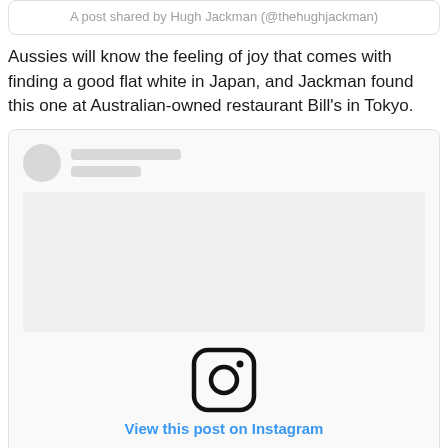A post shared by Hugh Jackman (@thehughjackman)
Aussies will know the feeling of joy that comes with finding a good flat white in Japan, and Jackman found this one at Australian-owned restaurant Bill's in Tokyo.
[Figure (screenshot): Instagram embed card with loading placeholder (avatar circle, gray name lines, empty image area, Instagram logo icon, and 'View this post on Instagram' link in blue)]